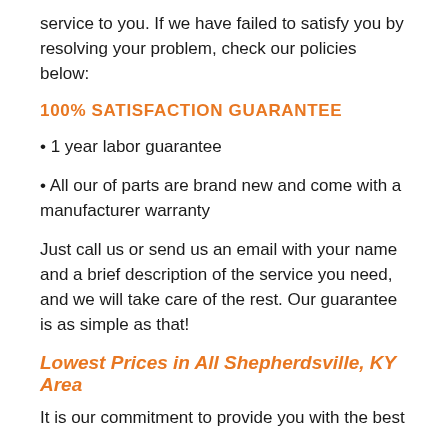service to you. If we have failed to satisfy you by resolving your problem, check our policies below:
100% SATISFACTION GUARANTEE
1 year labor guarantee
All our of parts are brand new and come with a manufacturer warranty
Just call us or send us an email with your name and a brief description of the service you need, and we will take care of the rest. Our guarantee is as simple as that!
Lowest Prices in All Shepherdsville, KY Area
It is our commitment to provide you with the best